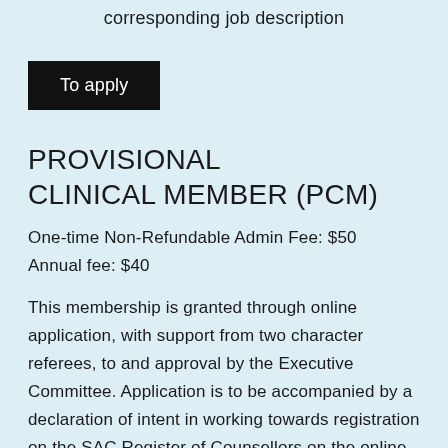corresponding job description
[Figure (other): Black button labeled 'To apply']
PROVISIONAL CLINICAL MEMBER (PCM)
One-time Non-Refundable Admin Fee: $50
Annual fee: $40
This membership is granted through online application, with support from two character referees, to and approval by the Executive Committee. Application is to be accompanied by a declaration of intent in working towards registration on the SAC Register of Counsellors on the online portal (3-year